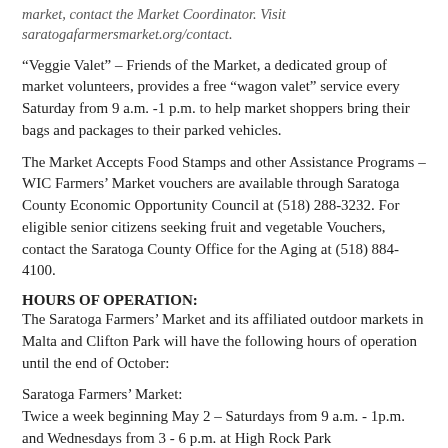market, contact the Market Coordinator. Visit saratogafarmersmarket.org/contact.
“Veggie Valet” – Friends of the Market, a dedicated group of market volunteers, provides a free “wagon valet” service every Saturday from 9 a.m. -1 p.m. to help market shoppers bring their bags and packages to their parked vehicles.
The Market Accepts Food Stamps and other Assistance Programs – WIC Farmers’ Market vouchers are available through Saratoga County Economic Opportunity Council at (518) 288-3232. For eligible senior citizens seeking fruit and vegetable Vouchers, contact the Saratoga County Office for the Aging at (518) 884-4100.
HOURS OF OPERATION:
The Saratoga Farmers’ Market and its affiliated outdoor markets in Malta and Clifton Park will have the following hours of operation until the end of October:
Saratoga Farmers’ Market:
Twice a week beginning May 2 – Saturdays from 9 a.m. - 1p.m. and Wednesdays from 3 - 6 p.m. at High Rock Park
Malta Farmers’ Market:
Tuesdays from 3 - 6 p.m. beginning June 2, in the Allerdice ACE Hardware parking lot at 2570 Route 9, just south of the Malta Community Center.